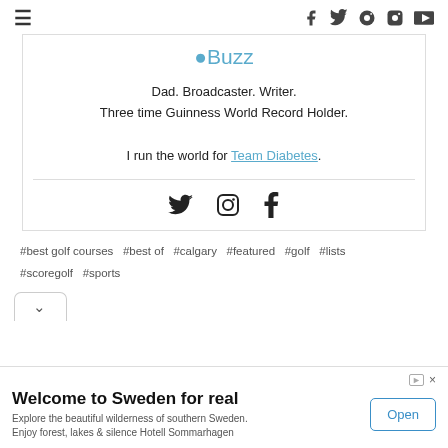≡   f  twitter  pinterest  instagram  youtube
⬤Buzz
Dad. Broadcaster. Writer.
Three time Guinness World Record Holder.

I run the world for Team Diabetes.
[Figure (infographic): Social media icons row: Twitter bird, Instagram camera, Facebook f]
#best golf courses  #best of  #calgary  #featured  #golf  #lists  #scoregolf  #sports
[Figure (other): Expand/collapse chevron button]
[Figure (other): Advertisement banner: Welcome to Sweden for real. Explore the beautiful wilderness of southern Sweden. Enjoy forest, lakes & silence Hotell Sommarhagen. Open button.]